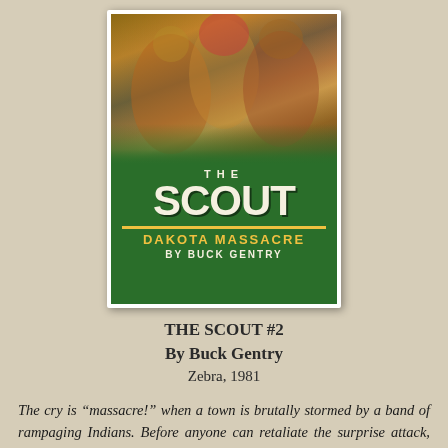[Figure (illustration): Book cover for 'The Scout #2: Dakota Massacre' by Buck Gentry. Green background with large white bold text 'THE SCOUT', yellow text 'DAKOTA MASSACRE', white text 'BY BUCK GENTRY'. Top portion shows painted artwork of Native American figures.]
THE SCOUT #2
By Buck Gentry
Zebra, 1981
The cry is “massacre!” when a town is brutally stormed by a band of rampaging Indians. Before anyone can retaliate the surprise attack, Eli Holten sets out for Sioux territory. Since he spent six years of his life learning the ways of the Plains, the Scout knows the tribe and the territory like the back of his hand. And his instincts tell him that someone’s been playing a dirty trick...